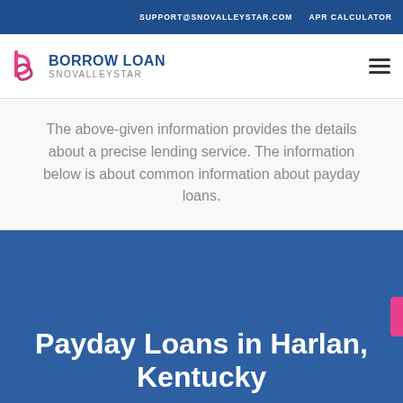SUPPORT@SNOVALLEYSTAR.COM   APR CALCULATOR
[Figure (logo): Borrow Loan SnoValleyStar logo with stylized b/p icon in pink and navy, and text BORROW LOAN SNOVALLEYSTAR]
The above-given information provides the details about a precise lending service. The information below is about common information about payday loans.
Payday Loans in Harlan, Kentucky